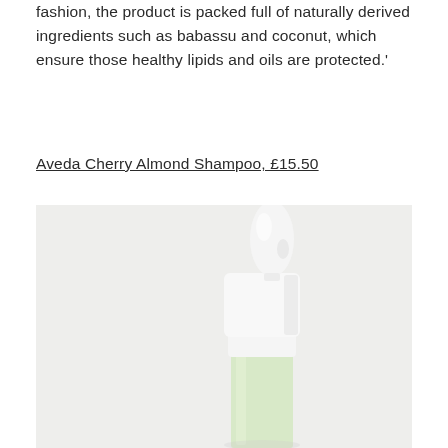fashion, the product is packed full of naturally derived ingredients such as babassu and coconut, which ensure those healthy lipids and oils are protected.'
Aveda Cherry Almond Shampoo, £15.50
[Figure (photo): A dropper bottle with a white rubber bulb top and white square cap, containing a light green/yellow liquid, photographed against a light grey background.]